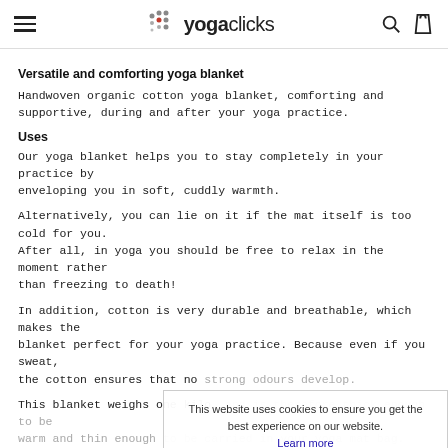yogaclicks
Versatile and comforting yoga blanket
Handwoven organic cotton yoga blanket, comforting and supportive, during and after your yoga practice.
Uses
Our yoga blanket helps you to stay completely in your practice by enveloping you in soft, cuddly warmth.
Alternatively, you can lie on it if the mat itself is too cold for you. After all, in yoga you should be free to relax in the moment rather than freezing to death!
In addition, cotton is very durable and breathable, which makes the blanket perfect for your yoga practice. Because even if you sweat, the cotton ensures that no strong odours develop.
This blanket weighs one kilo, and is therefore thick enough to be warm and thin enough to be carried in your yoga mat bag.
Measures
This website uses cookies to ensure you get the best experience on our website.
Learn more
Got it!